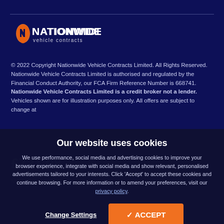[Figure (logo): Nationwide Vehicle Contracts logo — white text with orange UK map icon]
© 2022 Copyright Nationwide Vehicle Contracts Limited. All Rights Reserved. Nationwide Vehicle Contracts Limited is authorised and regulated by the Financial Conduct Authority, our FCA Firm Reference Number is 668741. Nationwide Vehicle Contracts Limited is a credit broker not a lender. Vehicles shown are for illustration purposes only. All offers are subject to change at any time.
Our website uses cookies
We use performance, social media and advertising cookies to improve your browser experience, integrate with social media and show relevant, personalised advertisements tailored to your interests. Click 'Accept' to accept these cookies and continue browsing. For more information or to amend your preferences, visit our privacy policy.
Change Settings
✓ ACCEPT